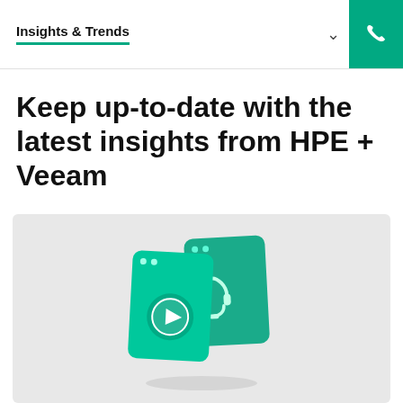Insights & Trends
Keep up-to-date with the latest insights from HPE + Veeam
[Figure (illustration): Isometric illustration of two overlapping mobile/card screens on a light grey background. The left card is cyan-green with a play button icon; the right card is teal with a headset/support icon. Both have small dots at the top resembling app UI elements.]